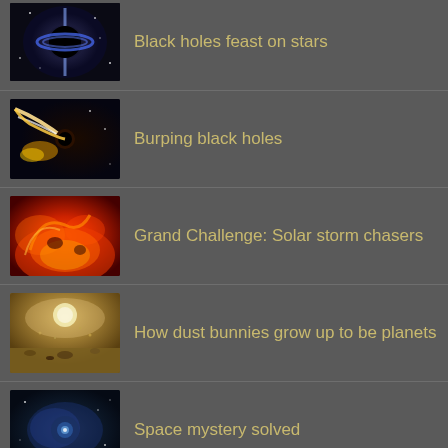Black holes feast on stars
Burping black holes
Grand Challenge: Solar storm chasers
How dust bunnies grow up to be planets
Space mystery solved
Together, every drone achieves more